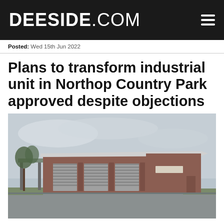DEESIDE.COM
Posted: Wed 15th Jun 2022
Plans to transform industrial unit in Northop Country Park approved despite objections
[Figure (photo): Photograph of a low brick industrial building with multiple roller shutter garage doors, set on a tarmac forecourt with trees and grass in the background under an overcast sky.]